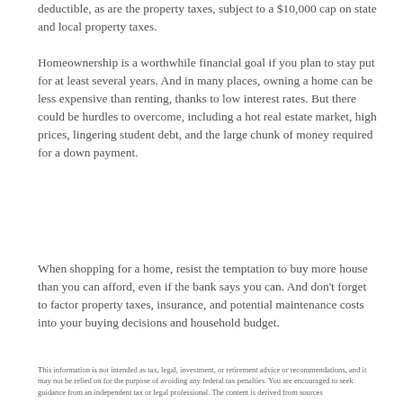deductible, as are the property taxes, subject to a $10,000 cap on state and local property taxes.
Homeownership is a worthwhile financial goal if you plan to stay put for at least several years. And in many places, owning a home can be less expensive than renting, thanks to low interest rates. But there could be hurdles to overcome, including a hot real estate market, high prices, lingering student debt, and the large chunk of money required for a down payment.
When shopping for a home, resist the temptation to buy more house than you can afford, even if the bank says you can. And don't forget to factor property taxes, insurance, and potential maintenance costs into your buying decisions and household budget.
This information is not intended as tax, legal, investment, or retirement advice or recommendations, and it may not be relied on for the purpose of avoiding any federal tax penalties. You are encouraged to seek guidance from an independent tax or legal professional. The content is derived from sources